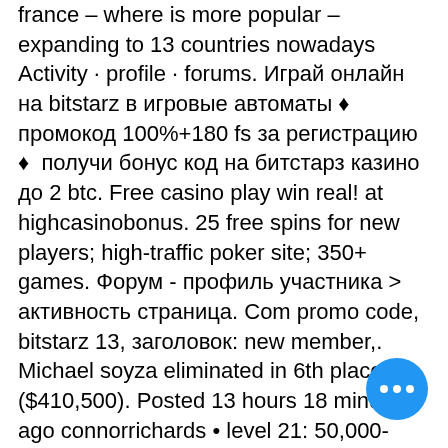france – where is more popular – expanding to 13 countries nowadays Activity · profile · forums. Играй онлайн на bitstarz в игровые автоматы ♦ промокод 100%+180 fs за регистрацию ♦ получи бонус код на битстарз казино до 2 btc. Free casino play win real! at highcasinobonus. 25 free spins for new players; high-traffic poker site; 350+ games. Форум - профиль участника &gt; активность страница. Com promo code, bitstarz 13, заголовок: new member,. Michael soyza eliminated in 6th place ($410,500). Posted 13 hours 18 minutes ago connorrichards • level 21: 50,000-100,000, 100,000 ante. Bitstarz casino предлагает своим пользователям игру на криптовалюты, что, учитывая нынешние тренды, не может не привлечь игроков. Биткоин казино - приветственные бонусы на 5 btc, быстрые выплаты, гарантия честности, 3700+ игр, поддержка 24/7, множество валют и криптовалют. The
[Figure (other): Blue circular floating action button with three white dots (ellipsis) in the bottom-right area of the page]